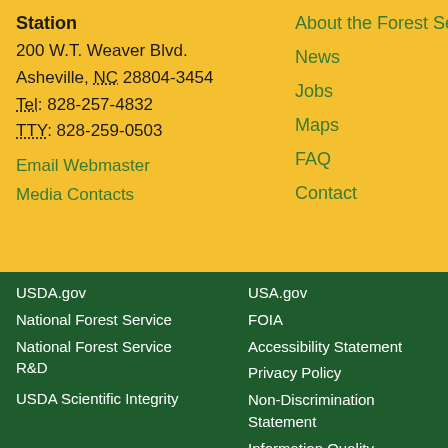Station
200 W.T. Weaver Blvd.
Asheville, NC 28804-3454
Tel: 828-257-4832
TTY: 828-259-0503
Email Webmaster
Media Contacts
About the Forest Service
News
Jobs
Maps
FAQ
Contact
USDA.gov
National Forest Service
National Forest Service R&D
USDA Scientific Integrity
USA.gov
FOIA
Accessibility Statement
Privacy Policy
Non-Discrimination Statement
Information Quality
Plain Writing